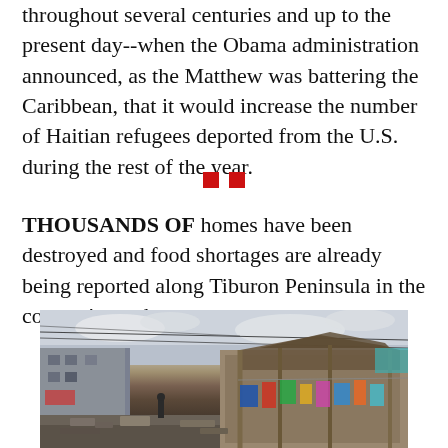throughout several centuries and up to the present day--when the Obama administration announced, as the Matthew was battering the Caribbean, that it would increase the number of Haitian refugees deported from the U.S. during the rest of the year.
[Figure (illustration): Two red squares used as a section divider/ornament]
THOUSANDS OF homes have been destroyed and food shortages are already being reported along Tiburon Peninsula in the country's southwest.
[Figure (photo): Photograph of a devastated street in Haiti showing destroyed buildings, rubble, power lines down, and colorful laundry hanging on damaged structures after Hurricane Matthew]